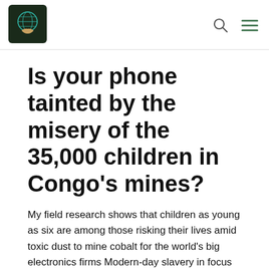[Figure (logo): Website logo: globe with hands icon, dark background]
Is your phone tainted by the misery of the 35,000 children in Congo's mines?
My field research shows that children as young as six are among those risking their lives amid toxic dust to mine cobalt for the world's big electronics firms Modern-day slavery in focus is supported by
[Figure (logo): Humanity United logo: circular striped globe in orange, yellow, red, green colors with text HUMANITY UNITED]